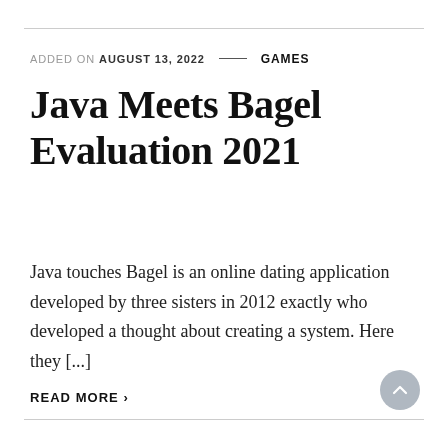ADDED ON AUGUST 13, 2022 — GAMES
Java Meets Bagel Evaluation 2021
Java touches Bagel is an online dating application developed by three sisters in 2012 exactly who developed a thought about creating a system. Here they [...]
READ MORE ›